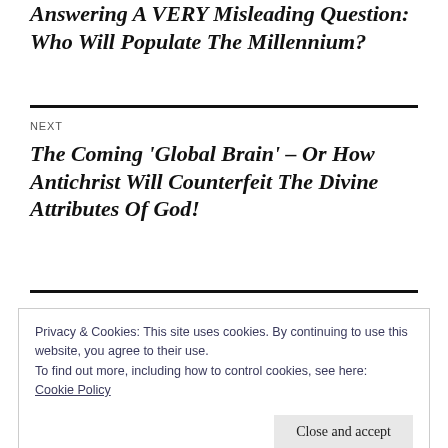Answering A VERY Misleading Question: Who Will Populate The Millennium?
NEXT
The Coming ‘Global Brain’ – Or How Antichrist Will Counterfeit The Divine Attributes Of God!
Privacy & Cookies: This site uses cookies. By continuing to use this website, you agree to their use.
To find out more, including how to control cookies, see here: Cookie Policy
Close and accept